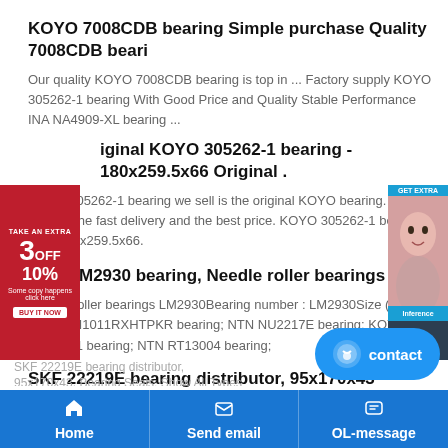KOYO 7008CDB bearing Simple purchase Quality 7008CDB beari
Our quality KOYO 7008CDB bearing is top in ... Factory supply KOYO 305262-1 bearing With Good Price and Quality Stable Performance INA NA4909-XL bearing ...
iginal KOYO 305262-1 bearing - 180x259.5x66 Original .
KOYO 305262-1 bearing we sell is the original KOYO bearing. We will provide the fast delivery and the best price. KOYO 305262-1 bearing size: 180x259.5x66.
NSK LM2930 bearing, Needle roller bearings LM29
Needle roller bearings LM2930Bearing number : LM2930Size (mm) : ... NSK N1011RXHTPKR bearing; NTN NU2217E bearing; KOYO 305262-1 bearing; NTN RT13004 bearing;
SKF 22219E bearing distributor, 95x170x43 22219E bea
SKF 22219E bearing distributor, 95x170x43. Bearing Seals: Show All Types Tapered
Home   Send email   OL-message